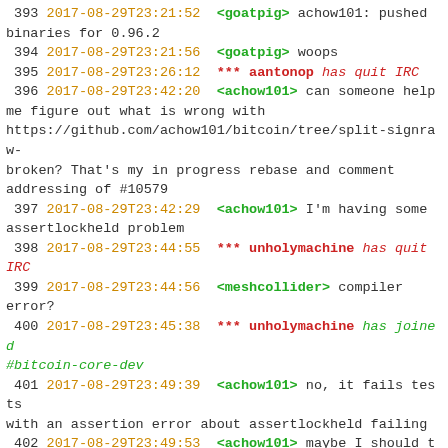IRC chat log entries 393-405, dated 2017-08-29, showing Bitcoin Core developer channel conversation
393 2017-08-29T23:21:52 <goatpig> achow101: pushed binaries for 0.96.2
394 2017-08-29T23:21:56 <goatpig> woops
395 2017-08-29T23:26:12 *** aantonop has quit IRC
396 2017-08-29T23:42:20 <achow101> can someone help me figure out what is wrong with https://github.com/achow101/bitcoin/tree/split-signraw-broken? That's my in progress rebase and comment addressing of #10579
397 2017-08-29T23:42:29 <achow101> I'm having some assertlockheld problem
398 2017-08-29T23:44:55 *** unholymachine has quit IRC
399 2017-08-29T23:44:56 <meshcollider> compiler error?
400 2017-08-29T23:45:38 *** unholymachine has joined #bitcoin-core-dev
401 2017-08-29T23:49:39 <achow101> no, it fails tests with an assertion error about assertlockheld failing
402 2017-08-29T23:49:53 <achow101> maybe I should try it normally first
403 2017-08-29T23:50:39 <achow101> actually nvm. I didn't make clean so an earlier broken version was the problem
404 2017-08-29T23:55:36 *** Chris_Stewart_5 has joined #bitcoin-core-dev
405 2017-08-29T23:59:41 *** abpa has quit IRC